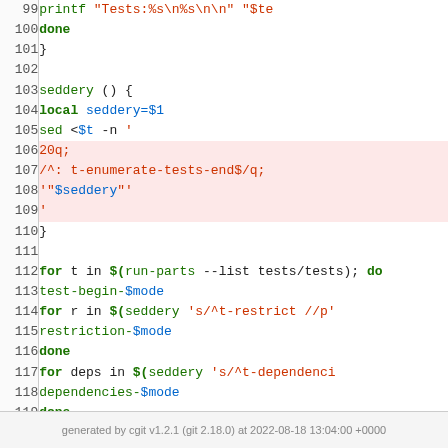[Figure (screenshot): Shell script source code viewer showing lines 99-123 with syntax highlighting. Line numbers in left column, code in right column with colored tokens: keywords in bold green, variables in blue, strings in red/orange. Lines 106-109 have a pink background highlight. Code includes seddery function definition and for loop constructs.]
generated by cgit v1.2.1 (git 2.18.0) at 2022-08-18 13:04:00 +0000